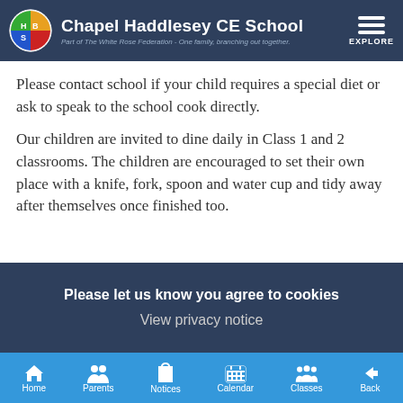Chapel Haddlesey CE School — Part of The White Rose Federation - One family, branching out together.
Please contact school if your child requires a special diet or ask to speak to the school cook directly.
Our children are invited to dine daily in Class 1 and 2 classrooms. The children are encouraged to set their own place with a knife, fork, spoon and water cup and tidy away after themselves once finished too.
Please let us know you agree to cookies
View privacy notice
Home  Parents  Notices  Calendar  Classes  Back